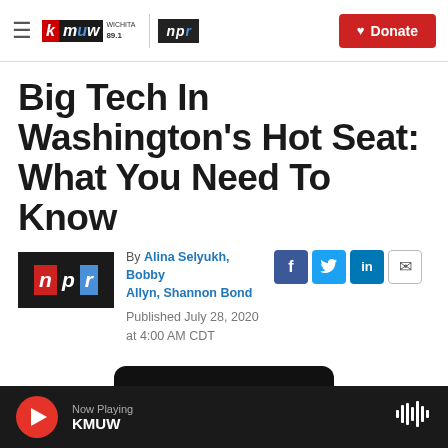KMUW Wichita 89.1 | NPR | Donate
Big Tech In Washington's Hot Seat: What You Need To Know
By Alina Selyukh, Bobby Allyn, Shannon Bond
Published July 28, 2020 at 4:00 AM CDT
[Figure (logo): NPR logo square – red, black, blue blocks with letters n, p, r]
Now Playing KMUW